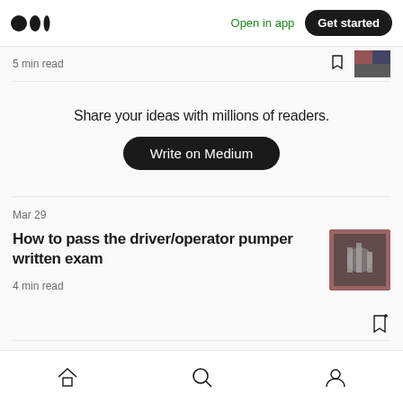Medium logo | Open in app | Get started
5 min read
Share your ideas with millions of readers.
Write on Medium
Mar 29
How to pass the driver/operator pumper written exam
4 min read
Mar 17
Home | Search | Profile